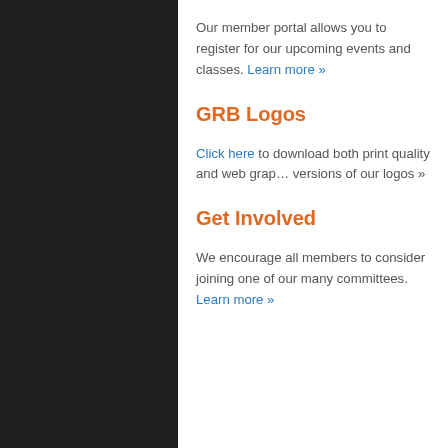Our member portal allows you to register for our upcoming events and classes. Learn more »
GRB Logos
Click here to download both print quality and web graphic versions of our logos »
Get Involved
We encourage all members to consider joining one of our many committees. Learn more »
MEMBERSHIP
Member Information